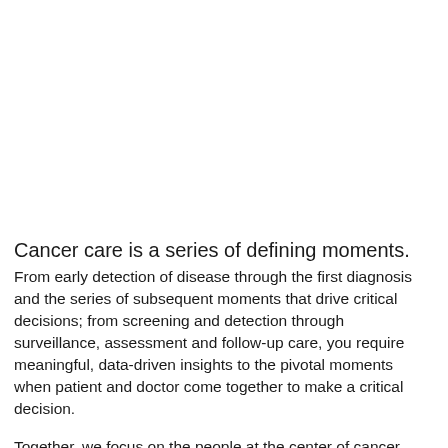Cancer care is a series of defining moments.
From early detection of disease through the first diagnosis and the series of subsequent moments that drive critical decisions; from screening and detection through surveillance, assessment and follow-up care, you require meaningful, data-driven insights to the pivotal moments when patient and doctor come together to make a critical decision.
Together, we focus on the people at the center of cancer care. A deep clinical understanding, ambition, commitment to value and